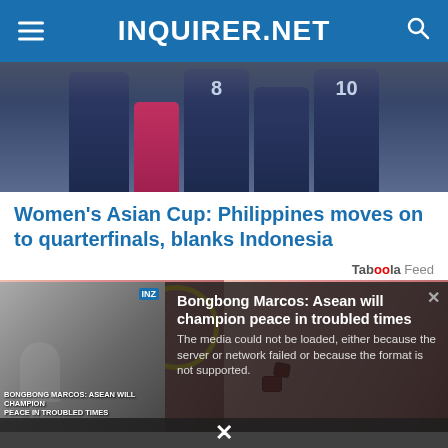INQUIRER.NET
[Figure (photo): Sports team photo showing players in dark navy jerseys with numbers 8 and 10 visible, cropped at waist level]
Women's Asian Cup: Philippines moves on to quarterfinals, blanks Indonesia
Taboola Feed
[Figure (photo): Close-up photo of human ears with unusual objects inserted, with yellow circle highlight and arrow annotation on the right side]
[Figure (screenshot): Video player overlay showing error message 'The media could not be loaded, either because the server or network failed or because the format is not supported.' with thumbnail of Bongbong Marcos video and title 'Bongbong Marcos: Asean will champion peace in troubled times']